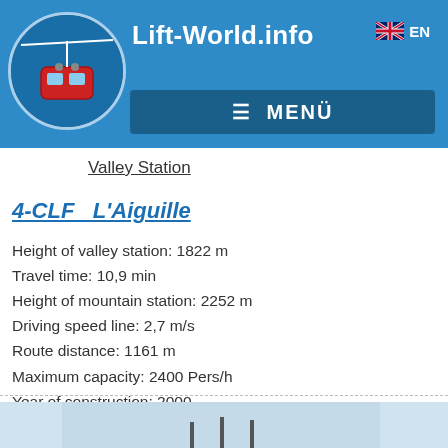Lift-World.info  ≡ MENÜ  EN
Valley Station
4-CLF   L'Aiguille
Height of valley station: 1822 m
Travel time: 10,9 min
Height of mountain station: 2252 m
Driving speed line: 2,7 m/s
Route distance: 1161 m
Maximum capacity: 2400 Pers/h
Year of construction: 2000
Lift manufacturer: Poma
Seasontime: ??
[Figure (photo): Partial view of a mountain or ski lift area, bluish-grey sky background]